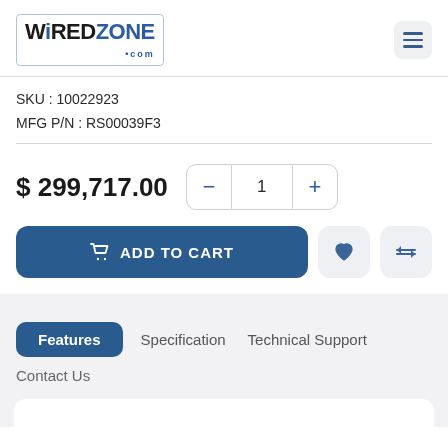WiredZone.com
SKU : 10022923
MFG P/N : RS00039F3
$ 299,717.00
ADD TO CART
Features
Specification
Technical Support
Contact Us